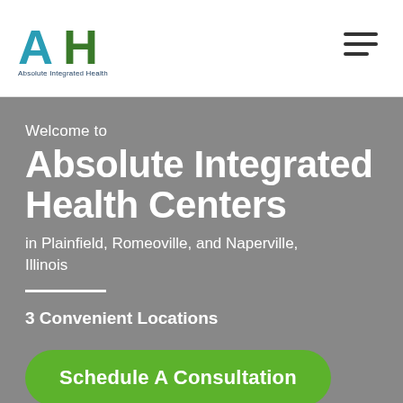[Figure (logo): Absolute Integrated Health logo with stylized 'AH' letters in teal and green, and text 'Absolute Integrated Health' below]
[Figure (other): Hamburger menu icon with three horizontal lines]
Welcome to
Absolute Integrated Health Centers
in Plainfield, Romeoville, and Naperville, Illinois
3 Convenient Locations
Schedule A Consultation